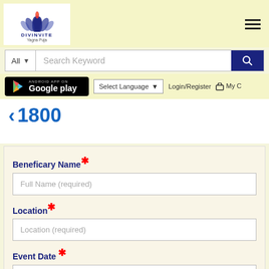[Figure (logo): Divinvite Yagna Puja logo with lotus flower and blue text]
[Figure (screenshot): Search bar with 'All' dropdown and 'Search Keyword' placeholder, blue search button]
[Figure (screenshot): Google Play app download button, Select Language dropdown, Login/Register and My Cart links]
< 1800
Beneficary Name *
Full Name (required)
Location *
Location (required)
Event Date *